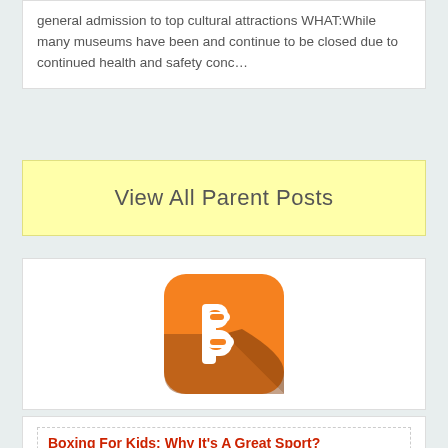general admission to top cultural attractions WHAT:While many museums have been and continue to be closed due to continued health and safety conc…
View All Parent Posts
[Figure (logo): Blogger app icon — orange rounded square with white 'B' letter logo and brown shadow]
Boxing For Kids: Why It's A Great Sport?